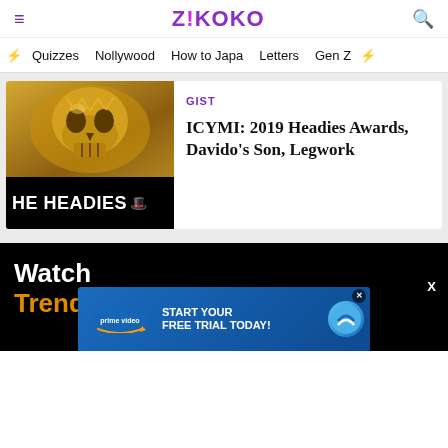Z!KOKO
Quizzes  Nollywood  How to Japa  Letters  Gen Z
[Figure (photo): The Headies award trophy image with golden skull and 'HEADIES' text banner at bottom]
GIST
ICYMI: 2019 Headies Awards, Davido's Son, Legwork
Watch
Trending Videos
[Figure (other): Amazon Prime Video advertisement banner: START YOUR FREE TRIAL TODAY!]